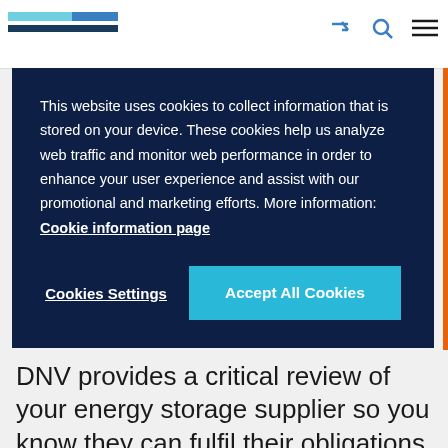DNV navigation bar with logo
This website uses cookies to collect information that is stored on your device. These cookies help us analyze web traffic and monitor web performance in order to enhance your user experience and assist with our promotional and marketing efforts. More information: Cookie information page
Cookies Settings
Accept All Cookies
DNV provides a critical review of your energy storage supplier so you know they can fulfil their obligations.